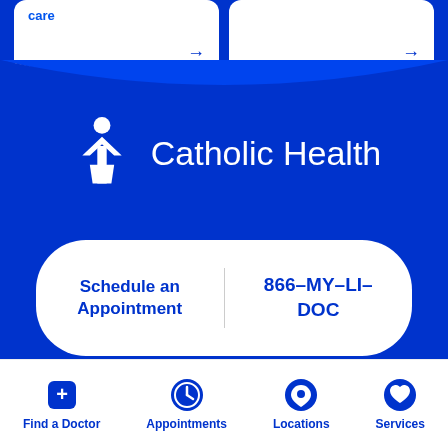[Figure (screenshot): Two white cards with arrows on blue background, partially visible at top of screen]
[Figure (logo): Catholic Health logo with white angel/figure icon and white text 'Catholic Health' on blue background]
Schedule an Appointment    866-MY-LI-DOC
About Catholic Health
Find a Doctor   Appointments   Locations   Services